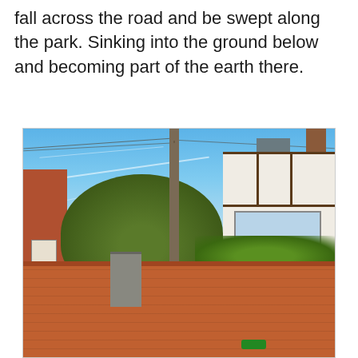fall across the road and be swept along the park. Sinking into the ground below and becoming part of the earth there.
[Figure (photo): Outdoor photograph showing a brick wall/gate post in the foreground, a large utility pole in the center, trees in the middle ground, a Tudor-style black-and-white house on the right, a red brick building on the left, and a blue sky with contrails above.]